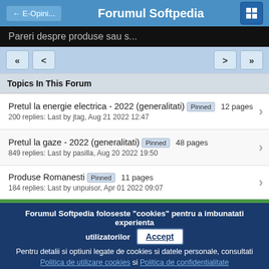← E-Opini... | Forumul Softpedia | [grid icon]
Pareri despre produse sau s...
Topics In This Forum
Pretul la energie electrica - 2022 (generalitati) Pinned 12 pages
200 replies: Last by jtag, Aug 21 2022 12:47
Pretul la gaze - 2022 (generalitati) Pinned 48 pages
849 replies: Last by pasilla, Aug 20 2022 19:50
Produse Romanesti Pinned 11 pages
184 replies: Last by unpuisor, Apr 01 2022 09:07
Forumul Softpedia foloseste "cookies" pentru a imbunatati experienta utilizatorilor
Pentru detalii si optiuni legate de cookies si datele personale, consultati Politica de utilizare cookies si Politica de confidentialitate